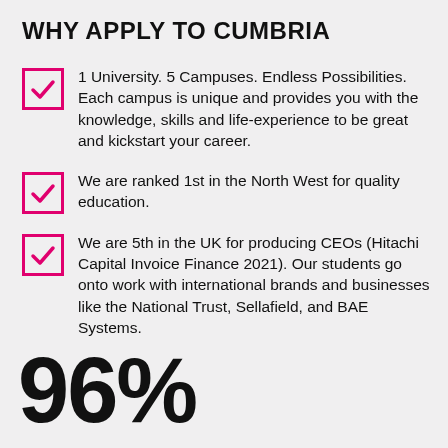WHY APPLY TO CUMBRIA
1 University. 5 Campuses. Endless Possibilities. Each campus is unique and provides you with the knowledge, skills and life-experience to be great and kickstart your career.
We are ranked 1st in the North West for quality education.
We are 5th in the UK for producing CEOs (Hitachi Capital Invoice Finance 2021). Our students go onto work with international brands and businesses like the National Trust, Sellafield, and BAE Systems.
96%